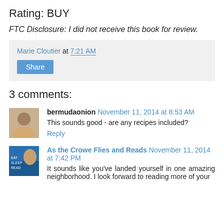Rating: BUY
FTC Disclosure: I did not receive this book for review.
Marie Cloutier at 7:21 AM
Share
3 comments:
bermudaonion November 11, 2014 at 8:53 AM
This sounds good - are any recipes included?
Reply
As the Crowe Flies and Reads November 11, 2014 at 7:42 PM
It sounds like you've landed yourself in one amazing neighborhood. I look forward to reading more of your